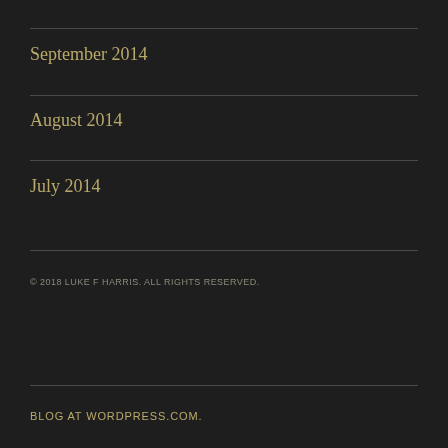September 2014
August 2014
July 2014
© 2018 LUKE F HARRIS. ALL RIGHTS RESERVED.
BLOG AT WORDPRESS.COM.